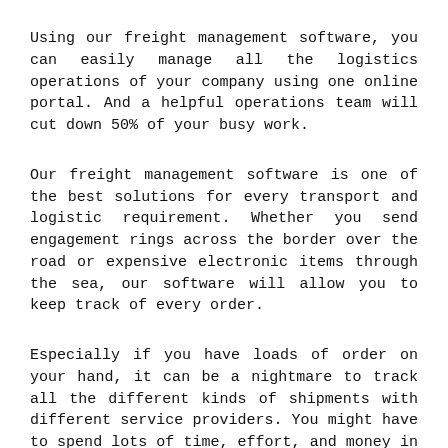Using our freight management software, you can easily manage all the logistics operations of your company using one online portal. And a helpful operations team will cut down 50% of your busy work.
Our freight management software is one of the best solutions for every transport and logistic requirement. Whether you send engagement rings across the border over the road or expensive electronic items through the sea, our software will allow you to keep track of every order.
Especially if you have loads of order on your hand, it can be a nightmare to track all the different kinds of shipments with different service providers. You might have to spend lots of time, effort, and money in doing so. But Easy Logistics Management can reduce the efforts you need to put in.
The world is slowly becoming automated, and so is the logistics and transport industry. Using our software, you can easily track all the orders, ensure the shipment is not late, and provide very good